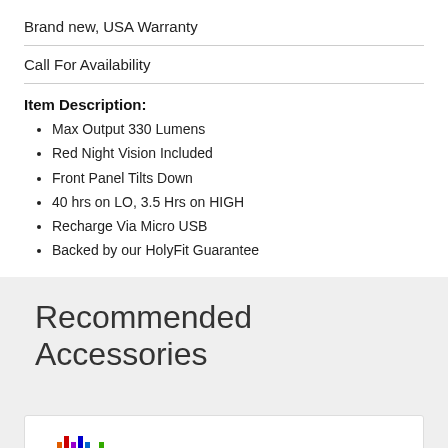Brand new, USA Warranty
Call For Availability
Item Description:
Max Output 330 Lumens
Red Night Vision Included
Front Panel Tilts Down
40 hrs on LO, 3.5 Hrs on HIGH
Recharge Via Micro USB
Backed by our HolyFit Guarantee
Recommended Accessories
[Figure (other): Partial view of a product card with colorful bar graphic at the bottom]